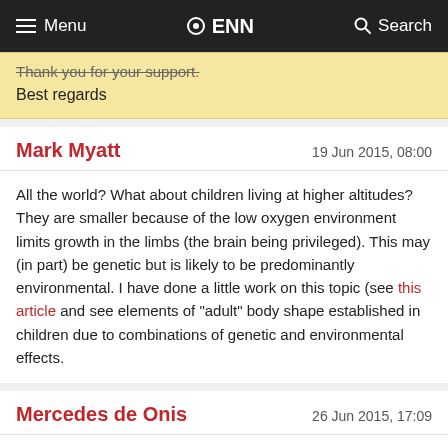Menu  ENN  Search
Thank you for your support.
Best regards
Mark Myatt    19 Jun 2015, 08:00
All the world? What about children living at higher altitudes? They are smaller because of the low oxygen environment limits growth in the limbs (the brain being privileged). This may (in part) be genetic but is likely to be predominantly environmental. I have done a little work on this topic (see this article and see elements of "adult" body shape established in children due to combinations of genetic and environmental effects.
Mercedes de Onis    26 Jun 2015, 17:09
I am not aware on the availability of growth standards specifically for Vietnam nor do I think they are under construction as the WHO growth standards were reviewed and adopted for use in Vietnam